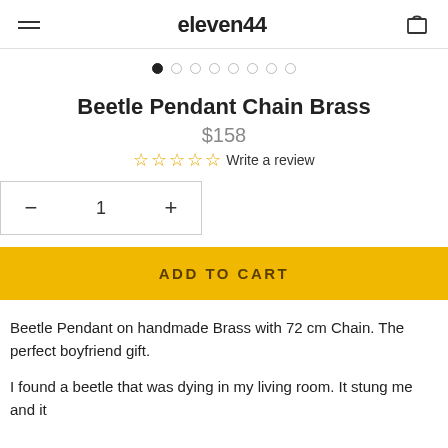eleven44
Beetle Pendant Chain Brass
$158
☆ ☆ ☆ ☆ ☆ Write a review
− 1 +
ADD TO CART
Beetle Pendant on handmade Brass with 72 cm Chain. The perfect boyfriend gift.
I found a beetle that was dying in my living room. It stung me and it